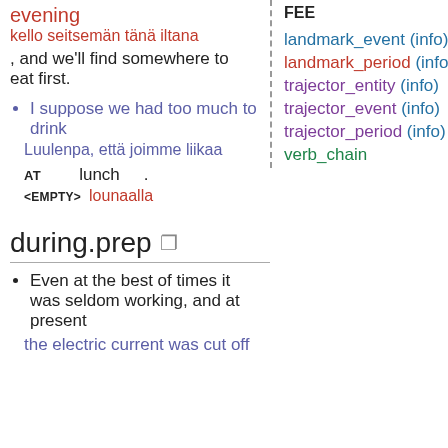evening
kello seitsemän tänä iltana
, and we'll find somewhere to eat first.
I suppose we had too much to drink
Luulenpa, että joimme liikaa
AT   lunch   .
<EMPTY> lounaalla
during.prep
Even at the best of times it was seldom working, and at present
the electric current was cut off
FEE
landmark_event (info)
landmark_period (info)
trajector_entity (info)
trajector_event (info)
trajector_period (info)
verb_chain